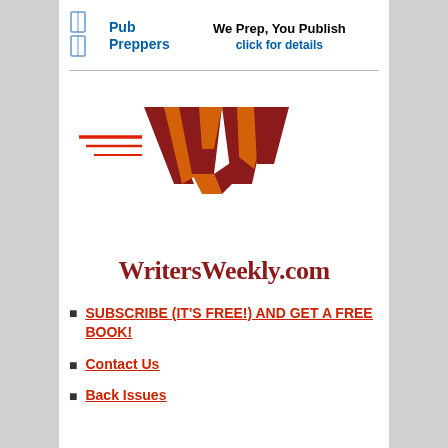[Figure (logo): Pub Preppers logo with book icon and text, alongside tagline 'We Prep, You Publish' and 'click for details' in blue]
[Figure (logo): WritersWeekly.com logo — stylized W in orange/red/dark red with speed lines, and 'WritersWeekly.com' in dark red serif text below]
SUBSCRIBE (IT'S FREE!) AND GET A FREE BOOK!
Contact Us
Back Issues